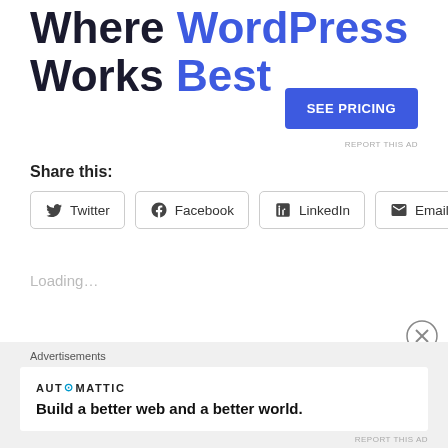Where WordPress Works Best
[Figure (other): SEE PRICING button — blue rounded rectangle with white bold text]
REPORT THIS AD
Share this:
[Figure (other): Social share buttons: Twitter, Facebook, LinkedIn, Email]
Loading...
[Figure (other): Close/dismiss X circle button]
Advertisements
[Figure (other): Automattic advertisement card with logo and tagline: Build a better web and a better world.]
REPORT THIS AD